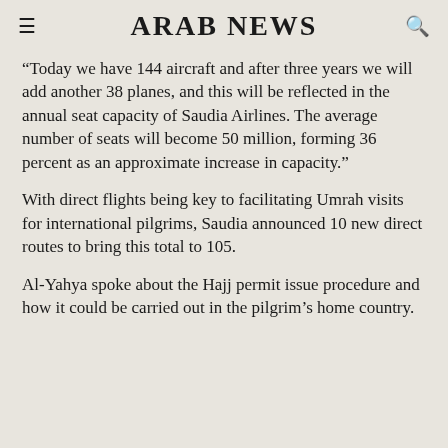ARAB NEWS
“Today we have 144 aircraft and after three years we will add another 38 planes, and this will be reflected in the annual seat capacity of Saudia Airlines. The average number of seats will become 50 million, forming 36 percent as an approximate increase in capacity.”
With direct flights being key to facilitating Umrah visits for international pilgrims, Saudia announced 10 new direct routes to bring this total to 105.
Al-Yahya spoke about the Hajj permit issue procedure and how it could be carried out in the pilgrim’s home country.